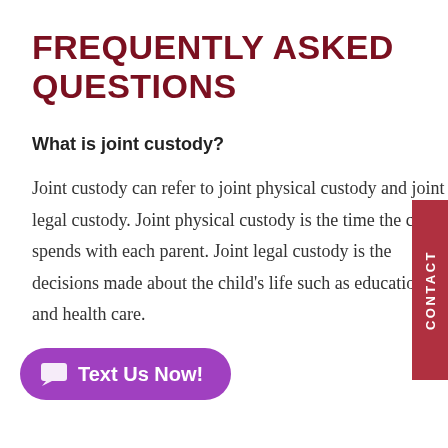FREQUENTLY ASKED QUESTIONS
What is joint custody?
Joint custody can refer to joint physical custody and joint legal custody. Joint physical custody is the time the child spends with each parent. Joint legal custody is the decisions made about the child’s life such as education and health care.
d support?
Child...